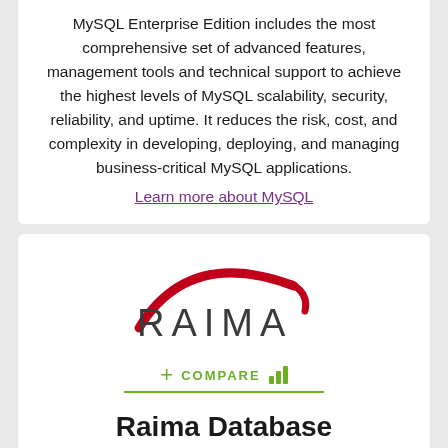MySQL Enterprise Edition includes the most comprehensive set of advanced features, management tools and technical support to achieve the highest levels of MySQL scalability, security, reliability, and uptime. It reduces the risk, cost, and complexity in developing, deploying, and managing business-critical MySQL applications.
Learn more about MySQL
[Figure (logo): RAIMA logo with red curved arc above the text RAIMA in dark grey letters]
+ COMPARE (with bar chart icon and green underline)
Raima Database Manager